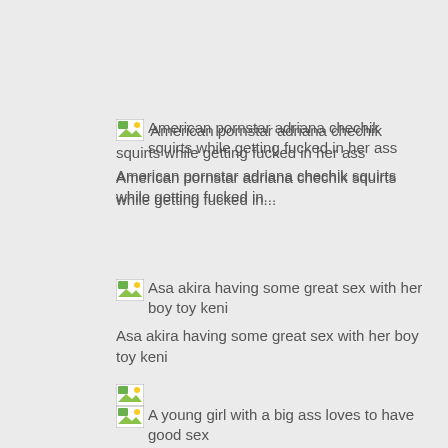[Figure (other): Broken image icon for 'American pornstar adriana chechik squirts while getting fucked in her ass']
American pornstar adriana chechik squirts while getting fucked in...
[Figure (other): Broken image icon for 'Asa akira having some great sex with her boy toy keni']
Asa akira having some great sex with her boy toy keni
[Figure (other): Broken image icon for 'A young girl with a big ass loves to have good sex']
A young girl with a big ass loves to have good